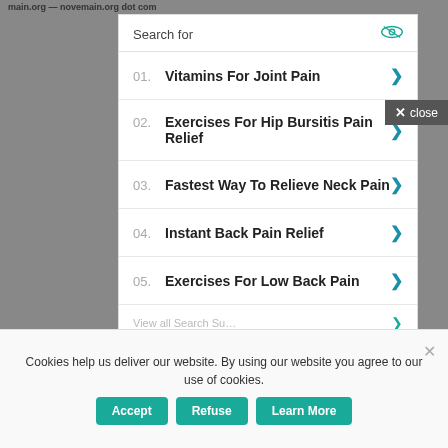main.org — novemain.org dot com
close
Search for
01. Vitamins For Joint Pain
02. Exercises For Hip Bursitis Pain Relief
03. Fastest Way To Relieve Neck Pain
04. Instant Back Pain Relief
05. Exercises For Low Back Pain
Cookies help us deliver our website. By using our website you agree to our use of cookies.
Accept   Refuse   Learn More